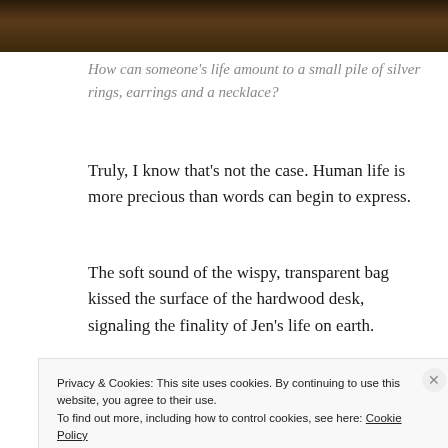[Figure (photo): Dark outdoor photo showing trees/foliage against a dark background, partially visible at top of page]
How can someone’s life amount to a small pile of silver rings, earrings and a necklace?
Truly, I know that’s not the case. Human life is more precious than words can begin to express.
The soft sound of the wispy, transparent bag kissed the surface of the hardwood desk, signaling the finality of Jen’s life on earth.
[Figure (other): Advertisement banner with green rectangles and text: Back up your site]
Privacy & Cookies: This site uses cookies. By continuing to use this website, you agree to their use.
To find out more, including how to control cookies, see here: Cookie Policy
Close and accept